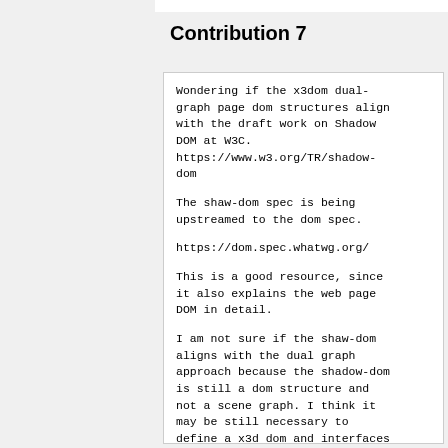Contribution 7
Wondering if the x3dom dual-graph page dom structures align with the draft work on Shadow DOM at W3C.
https://www.w3.org/TR/shadow-dom

The shaw-dom spec is being upstreamed to the dom spec.

https://dom.spec.whatwg.org/

This is a good resource, since it also explains the web page DOM in detail.

I am not sure if the shaw-dom aligns with the dual graph approach because the shadow-dom is still a dom structure and not a scene graph. I think it may be still necessary to define a x3d dom and interfaces similar to https://developer.mozilla.org/en-US/docs/DOM/DOM_Reference#SVG_inter